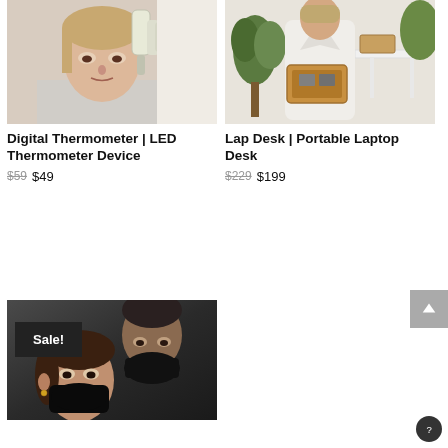[Figure (photo): Woman having temperature taken with digital infrared thermometer pointed at her forehead]
[Figure (photo): Person in white robe standing near wooden lap desk, plants and shelf in background]
Digital Thermometer | LED Thermometer Device
$59 $49
Lap Desk | Portable Laptop Desk
$229 $199
[Figure (photo): Two people wearing black face masks, Sale! badge overlay on image]